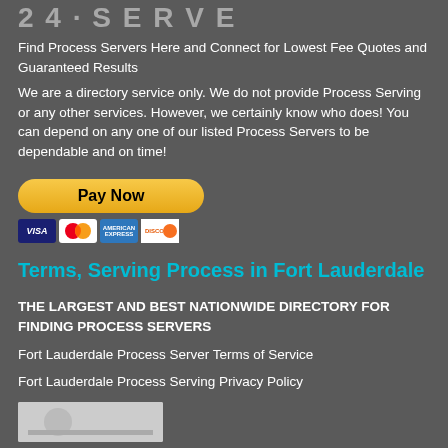[Figure (logo): Partially visible logo text at top of page (cropped)]
Find Process Servers Here and Connect for Lowest Fee Quotes and Guaranteed Results
We are a directory service only. We do not provide Process Serving or any other services. However, we certainly know who does! You can depend on any one of our listed Process Servers to be dependable and on time!
[Figure (other): PayPal Pay Now button with Visa, Mastercard, American Express, and Discover card icons below]
Terms, Serving Process in Fort Lauderdale
THE LARGEST AND BEST NATIONWIDE DIRECTORY FOR FINDING PROCESS SERVERS
Fort Lauderdale Process Server Terms of Service
Fort Lauderdale Process Serving Privacy Policy
[Figure (other): Partially visible image at bottom of page]